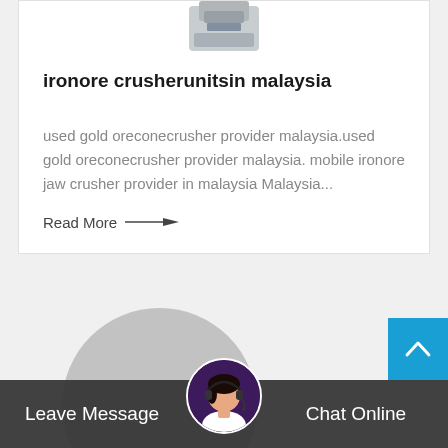[Figure (photo): Partial view of a crusher machine at top of card]
ironore crusherunitsin malaysia
used gold oreconecrusher provider malaysia.used gold oreconecrusher provider malaysia. mobile ironore jaw crusher provider in malaysia Malaysia...
Read More →
[Figure (photo): Large gray circle placeholder image for next card]
[Figure (photo): Customer service agent with headset, circular avatar in chat bar]
Leave Message
Chat Online